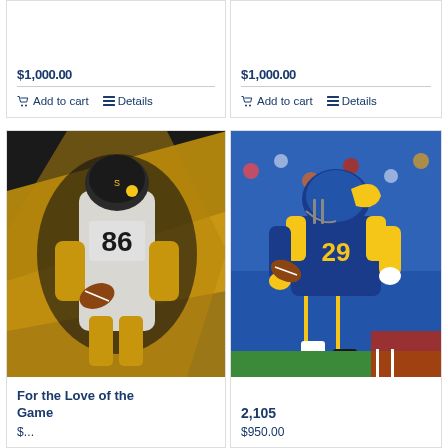$1,000.00
Add to cart | Details
$1,000.00
Add to cart | Details
[Figure (illustration): Digital painting of Pittsburgh Steelers football player #86 catching a ball, wearing white and gold uniform, dramatic yellow background]
For the Love of the Game
$...
[Figure (photo): Photo of LA Rams football player #29 in blue and gold uniform running with football]
2,105
$950.00